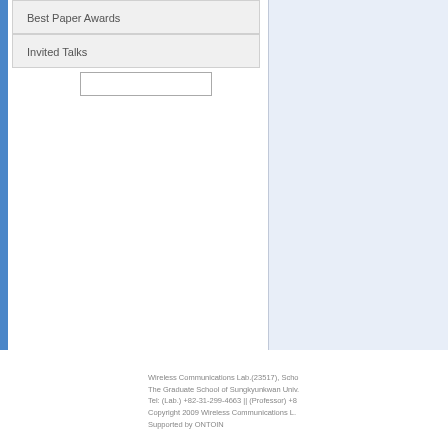Best Paper Awards
Invited Talks
Wireless Communications Lab.(23517), Scho. The Graduate School of Sungkyunkwan Univ. Tel: (Lab.) +82-31-299-4663 || (Professor) + Copyright 2009 Wireless Communications L. Supported by ONTOIN